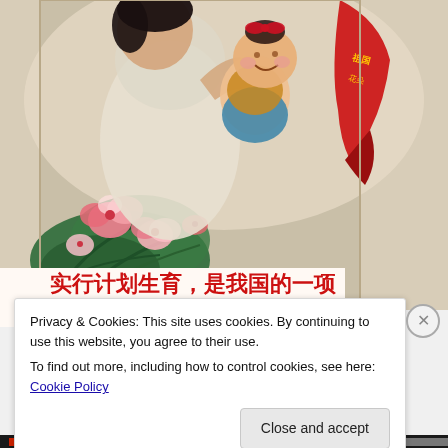[Figure (illustration): Chinese propaganda poster showing a smiling mother holding up a happy baby, with colorful flowers in the foreground and a red decorative ribbon with Chinese characters in the upper right corner. The poster has a painted/artistic style typical of Chinese government population policy posters.]
实行计划生育，是我国的一项基本国策！
Privacy & Cookies: This site uses cookies. By continuing to use this website, you agree to their use.
To find out more, including how to control cookies, see here: Cookie Policy
Close and accept